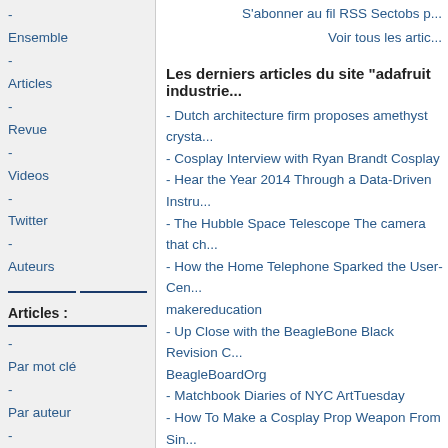- Ensemble
- Articles
- Revue
- Videos
- Twitter
- Auteurs
Articles :
- Par mot clé
- Par auteur
- Par organisme
- Le tagwall
Videos :
- Toutes
- Par mot clé
- Par site
- Le tagwall
Twitter :
- Tous
- Par mot clé
S'abonner au fil RSS Sectobs p...
Voir tous les artic...
Les derniers articles du site "adafruit industrie...
- Dutch architecture firm proposes amethyst crysta...
- Cosplay Interview with Ryan Brandt Cosplay
- Hear the Year 2014 Through a Data-Driven Instru...
- The Hubble Space Telescope The camera that ch...
- How the Home Telephone Sparked the User-Cen... makereducation
- Up Close with the BeagleBone Black Revision C... BeagleBoardOrg
- Matchbook Diaries of NYC ArtTuesday
- How To Make a Cosplay Prop Weapon From Sin...
- Arduino Powered Moisture Detection makereduca...
- DIY Laptop Controlled Robot With Arduino
Voir tous les artic...